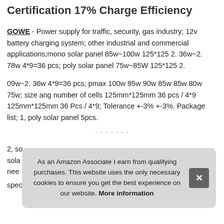Certification 17% Charge Efficiency
GOWE - Power supply for traffic, security, gas industry; 12v battery charging system; other industrial and commercial applications;mono solar panel 85w~100w 125*125 2. 36w~2. 78w 4*9=36 pcs; poly solar panel 75w~85W 125*125 2.
09w~2. 36w 4*9=36 pcs; pmax 100w 95w 90w 85w 85w 80w 75w; size ang number of cells 125mm*125mm 36 pcs / 4*9 125mm*125mm 36 Pcs / 4*9; Tolerance +-3% +-3%. Package list; 1, poly solar panel 5pcs.
More information
2, so solar nee
special aluminum Frame Design; High Transmission. If need to
As an Amazon Associate I earn from qualifying purchases. This website uses the only necessary cookies to ensure you get the best experience on our website. More information